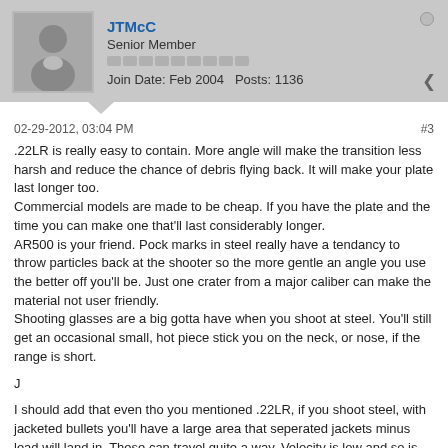JTMcC
Senior Member
Join Date: Feb 2004   Posts: 1136
02-29-2012, 03:04 PM
#3
.22LR is really easy to contain. More angle will make the transition less harsh and reduce the chance of debris flying back. It will make your plate last longer too.
Commercial models are made to be cheap. If you have the plate and the time you can make one that'll last considerably longer.
AR500 is your friend. Pock marks in steel really have a tendancy to throw particles back at the shooter so the more gentle an angle you use the better off you'll be. Just one crater from a major caliber can make the material not user friendly.
Shooting glasses are a big gotta have when you shoot at steel. You'll still get an occasional small, hot piece stick you on the neck, or nose, if the range is short.
J
I should add that even tho you mentioned .22LR, if you shoot steel, with jacketed bullets you'll have a large area that seperated jackets minus lead will land in. These can travel quite a way. Velocity is low and so is the risk of real damage but they do tend to fly long distances.